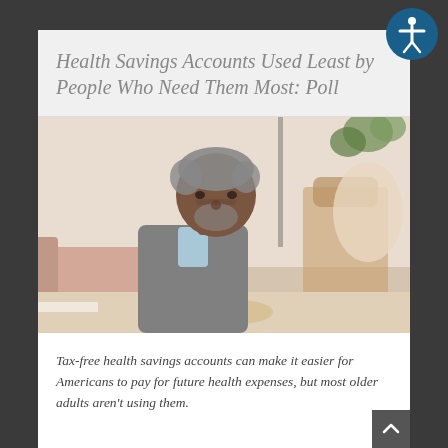Health Savings Accounts Used Least by People Who Need Them Most: Poll
[Figure (photo): Middle-aged Black man in a grey sweater over a light blue collar shirt, sitting and looking downward pensively. Background shows a living room with a rocking chair and plants.]
Tax-free health savings accounts can make it easier for Americans to pay for future health expenses, but most older adults aren't using them.